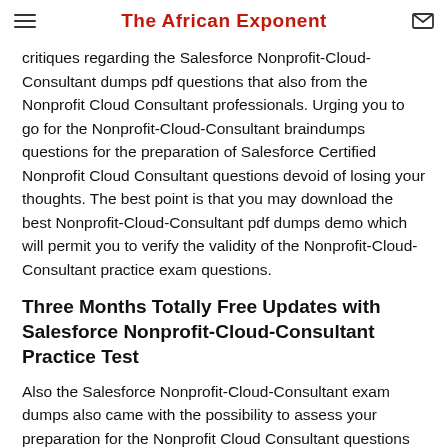The African Exponent
critiques regarding the Salesforce Nonprofit-Cloud-Consultant dumps pdf questions that also from the Nonprofit Cloud Consultant professionals. Urging you to go for the Nonprofit-Cloud-Consultant braindumps questions for the preparation of Salesforce Certified Nonprofit Cloud Consultant questions devoid of losing your thoughts. The best point is that you may download the best Nonprofit-Cloud-Consultant pdf dumps demo which will permit you to verify the validity of the Nonprofit-Cloud-Consultant practice exam questions.
Three Months Totally Free Updates with Salesforce Nonprofit-Cloud-Consultant Practice Test
Also the Salesforce Nonprofit-Cloud-Consultant exam dumps also came with the possibility to assess your preparation for the Nonprofit Cloud Consultant questions and that you can